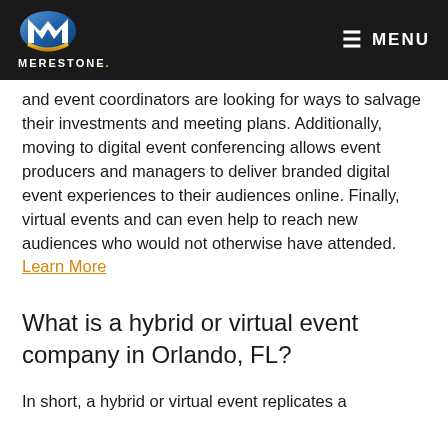MereStone. MENU
and event coordinators are looking for ways to salvage their investments and meeting plans. Additionally, moving to digital event conferencing allows event producers and managers to deliver branded digital event experiences to their audiences online. Finally, virtual events and can even help to reach new audiences who would not otherwise have attended. Learn More
What is a hybrid or virtual event company in Orlando, FL?
In short, a hybrid or virtual event replicates a